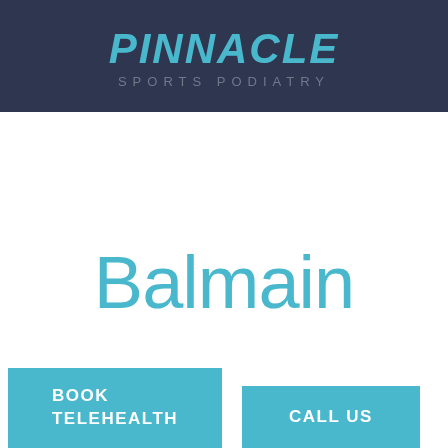PINNACLE SPORTS PODIATRY
Balmain
BOOK TELEHEALTH
CALL US